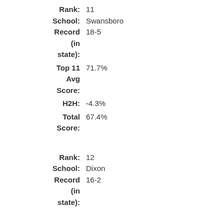Rank: 11
School: Swansboro
Record (in state): 18-5
Top 11 Avg Score: 71.7%
H2H: -4.3%
Total Score: 67.4%
Rank: 12
School: Dixon
Record (in state): 16-2